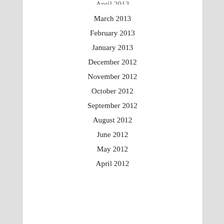April 2013
March 2013
February 2013
January 2013
December 2012
November 2012
October 2012
September 2012
August 2012
June 2012
May 2012
April 2012